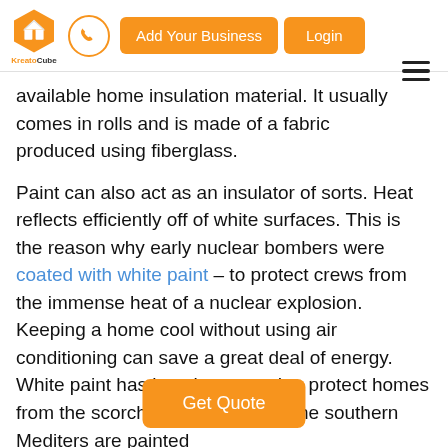[Figure (logo): KreatoCube logo — orange hexagonal icon with house/cube design, and text 'KreatoCube' with 'Kreato' in gray and 'Cube' in orange]
available home insulation material. It usually comes in rolls and is made of a fabric produced using fiberglass.
Paint can also act as an insulator of sorts. Heat reflects efficiently off of white surfaces. This is the reason why early nuclear bombers were coated with white paint – to protect crews from the immense heat of a nuclear explosion. Keeping a home cool without using air conditioning can save a great deal of energy. White paint has long been used to protect homes from the scorching heat of the sun. In the southern Mediterr... s are painted